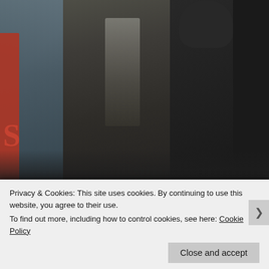[Figure (photo): A man in a grey three-piece suit (Warden Hobbes) flanked by figures in dark tactical gear/clothing, standing in what appears to be a prison or facility with glass panels in the background.]
The Tomb is run by Warden Hobbes (Jim Caviezel – Outlander). He's precise and evil, purely about the money and running a tighter than tight ship. He's into taxidermy and saying things really quietly and slowly. You know the type. He's also not the warden Ray was expecting. Naturally the
Privacy & Cookies: This site uses cookies. By continuing to use this website, you agree to their use.
To find out more, including how to control cookies, see here: Cookie Policy
Close and accept